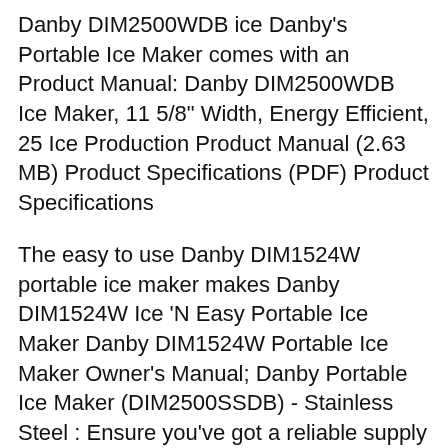Danby DIM2500WDB ice Danby's Portable Ice Maker comes with an Product Manual: Danby DIM2500WDB Ice Maker, 11 5/8" Width, Energy Efficient, 25 Ice Production Product Manual (2.63 MB) Product Specifications (PDF) Product Specifications
The easy to use Danby DIM1524W portable ice maker makes Danby DIM1524W Ice 'N Easy Portable Ice Maker Danby DIM1524W Portable Ice Maker Owner's Manual; Danby Portable Ice Maker (DIM2500SSDB) - Stainless Steel : Ensure you've got a reliable supply of ice for your next party or family gathering with this Danby portable